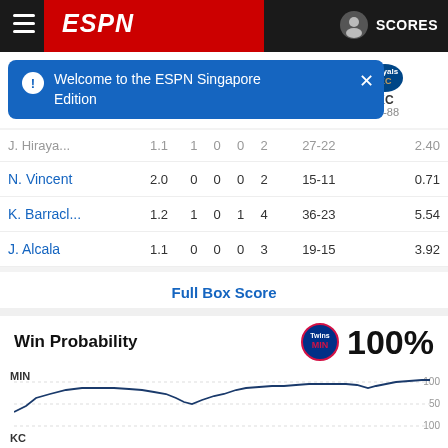[Figure (screenshot): ESPN app navigation bar with hamburger menu, ESPN logo, profile icon and SCORES button]
Welcome to the ESPN Singapore Edition
| Player | IP | H | R | BB | K | Record | ERA |
| --- | --- | --- | --- | --- | --- | --- | --- |
| J. Hiraya... | 1.1 | 1 | 0 | 0 | 2 | 27-22 | 2.40 |
| N. Vincent | 2.0 | 0 | 0 | 0 | 2 | 15-11 | 0.71 |
| K. Barracl... | 1.2 | 1 | 0 | 1 | 4 | 36-23 | 5.54 |
| J. Alcala | 1.1 | 0 | 0 | 0 | 3 | 19-15 | 3.92 |
Full Box Score
Win Probability
100%
[Figure (continuous-plot): Win probability chart for MIN (Twins) showing probability over game time. MIN line starts around 60%, rises to ~90%, dips to ~70%, then climbs back to 100%.]
KC